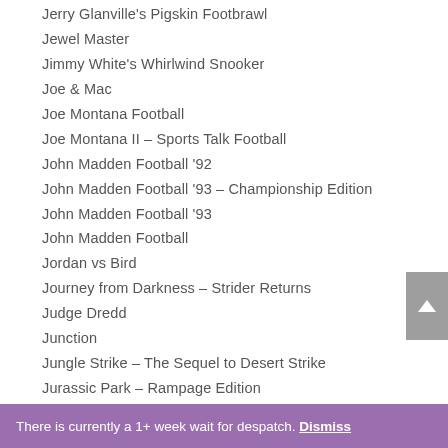Jerry Glanville's Pigskin Footbrawl
Jewel Master
Jimmy White's Whirlwind Snooker
Joe & Mac
Joe Montana Football
Joe Montana II – Sports Talk Football
John Madden Football '92
John Madden Football '93 – Championship Edition
John Madden Football '93
John Madden Football
Jordan vs Bird
Journey from Darkness – Strider Returns
Judge Dredd
Junction
Jungle Strike – The Sequel to Desert Strike
Jurassic Park – Rampage Edition
Jurassic Park
Justice League Task Force
There is currently a 1+ week wait for despatch. Dismiss